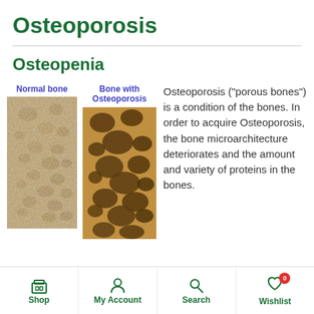Osteoporosis
Osteopenia
[Figure (photo): Side-by-side microscopic images of Normal bone (left, denser tighter structure) and Bone with Osteoporosis (right, larger porous holes), with labels in blue/purple text above each image.]
Osteoporosis ("porous bones") is a condition of the bones. In order to acquire Osteoporosis, the bone microarchitecture deteriorates and the amount and variety of proteins in the bones.
Shop  My Account  Search  Wishlist